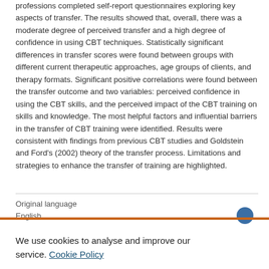professions completed self-report questionnaires exploring key aspects of transfer. The results showed that, overall, there was a moderate degree of perceived transfer and a high degree of confidence in using CBT techniques. Statistically significant differences in transfer scores were found between groups with different current therapeutic approaches, age groups of clients, and therapy formats. Significant positive correlations were found between the transfer outcome and two variables: perceived confidence in using the CBT skills, and the perceived impact of the CBT training on skills and knowledge. The most helpful factors and influential barriers in the transfer of CBT training were identified. Results were consistent with findings from previous CBT studies and Goldstein and Ford's (2002) theory of the transfer process. Limitations and strategies to enhance the transfer of training are highlighted.
| Original language |
| --- |
| English |
We use cookies to analyse and improve our service. Cookie Policy